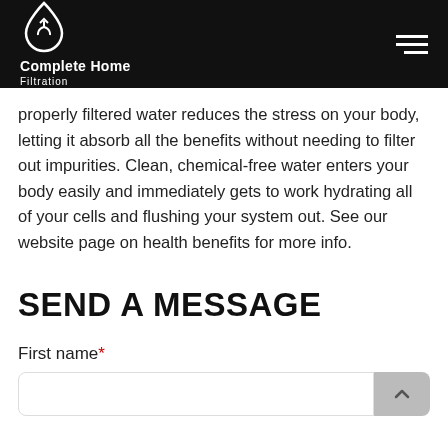Complete Home Filtration
properly filtered water reduces the stress on your body, letting it absorb all the benefits without needing to filter out impurities. Clean, chemical-free water enters your body easily and immediately gets to work hydrating all of your cells and flushing your system out. See our website page on health benefits for more info.
SEND A MESSAGE
First name*